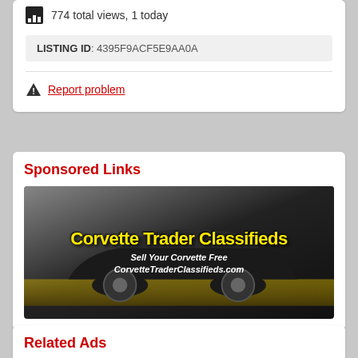774 total views, 1 today
LISTING ID: 4395F9ACF5E9AA0A
Report problem
Sponsored Links
[Figure (photo): Corvette Trader Classifieds advertisement banner showing a black 1963 Corvette Sting Ray with yellow text 'Corvette Trader Classifieds' and white italic text 'Sell Your Corvette Free CorvetteTraderClassifieds.com']
Related Ads